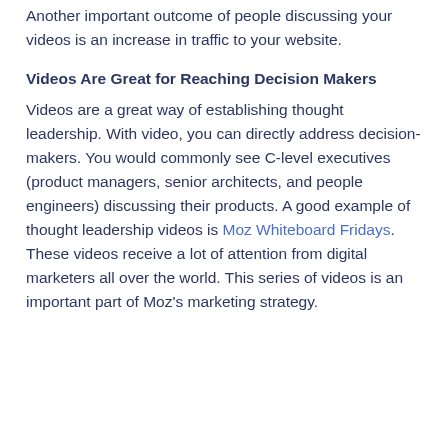Another important outcome of people discussing your videos is an increase in traffic to your website.
Videos Are Great for Reaching Decision Makers
Videos are a great way of establishing thought leadership. With video, you can directly address decision-makers. You would commonly see C-level executives (product managers, senior architects, and people engineers) discussing their products. A good example of thought leadership videos is Moz Whiteboard Fridays. These videos receive a lot of attention from digital marketers all over the world. This series of videos is an important part of Moz's marketing strategy.